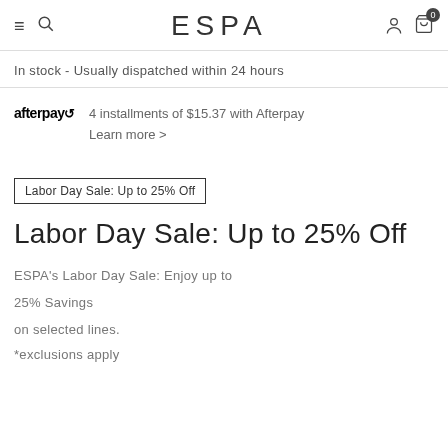ESPA
In stock - Usually dispatched within 24 hours
4 installments of $15.37 with Afterpay Learn more >
Labor Day Sale: Up to 25% Off
Labor Day Sale: Up to 25% Off
ESPA's Labor Day Sale: Enjoy up to 25% Savings on selected lines. *exclusions apply